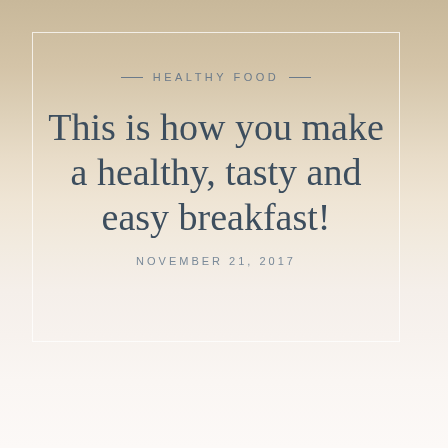— HEALTHY FOOD —
This is how you make a healthy, tasty and easy breakfast!
NOVEMBER 21, 2017